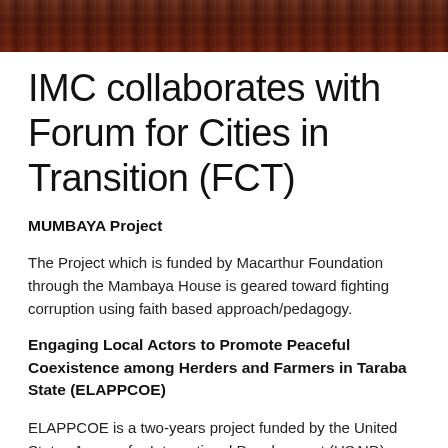[Figure (photo): Banner photo showing people at an event, with dark red/maroon tones, partially visible at the top of the page.]
IMC collaborates with Forum for Cities in Transition (FCT)
MUMBAYA Project
The Project which is funded by Macarthur Foundation through the Mambaya House is geared toward fighting corruption using faith based approach/pedagogy.
Engaging Local Actors to Promote Peaceful Coexistence among Herders and Farmers in Taraba State (ELAPPCOE)
ELAPPCOE is a two-years project funded by the United States Agency for International Development (USAID) and implemented by Pact West Africa and the Interfaith Mediation Center (IMC) and other partners in collaboration with